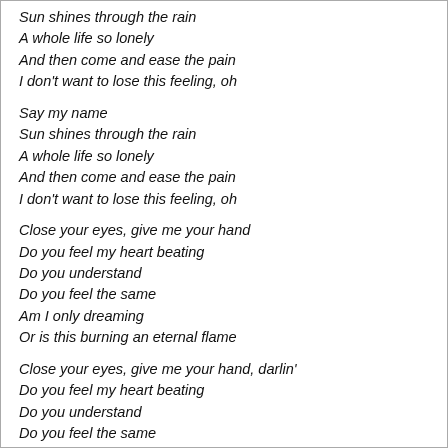Sun shines through the rain
A whole life so lonely
And then come and ease the pain
I don't want to lose this feeling, oh
Say my name
Sun shines through the rain
A whole life so lonely
And then come and ease the pain
I don't want to lose this feeling, oh
Close your eyes, give me your hand
Do you feel my heart beating
Do you understand
Do you feel the same
Am I only dreaming
Or is this burning an eternal flame
Close your eyes, give me your hand, darlin'
Do you feel my heart beating
Do you understand
Do you feel the same